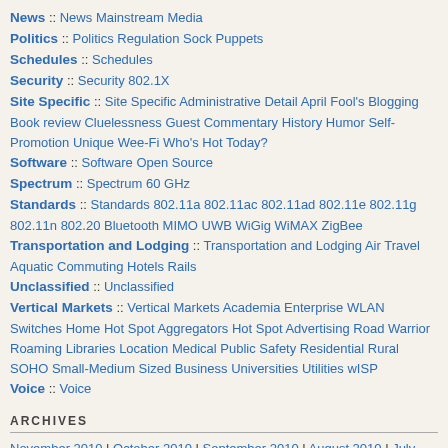News :: News Mainstream Media
Politics :: Politics Regulation Sock Puppets
Schedules :: Schedules
Security :: Security 802.1X
Site Specific :: Site Specific Administrative Detail April Fool's Blogging Book review Cluelessness Guest Commentary History Humor Self-Promotion Unique Wee-Fi Who's Hot Today?
Software :: Software Open Source
Spectrum :: Spectrum 60 GHz
Standards :: Standards 802.11a 802.11ac 802.11ad 802.11e 802.11g 802.11n 802.20 Bluetooth MIMO UWB WiGig WiMAX ZigBee
Transportation and Lodging :: Transportation and Lodging Air Travel Aquatic Commuting Hotels Rails
Unclassified :: Unclassified
Vertical Markets :: Vertical Markets Academia Enterprise WLAN Switches Home Hot Spot Aggregators Hot Spot Advertising Road Warrior Roaming Libraries Location Medical Public Safety Residential Rural SOHO Small-Medium Sized Business Universities Utilities wISP
Voice :: Voice
ARCHIVES
November 2010 | October 2010 | September 2010 | August 2010 | July 2010 | June 2010 | May 2010 | April 2010 | March 2010 | February 2010 | January 2010 | December 2009 | November 2009 | October 2009 | September 2009 | August 2009 | July 2009 | June 2009 | May 2009 | April 2009 | March 2009 | February 2009 | January 2009 | December 2008 | November 2008 | October 2009 | September 2009 | August